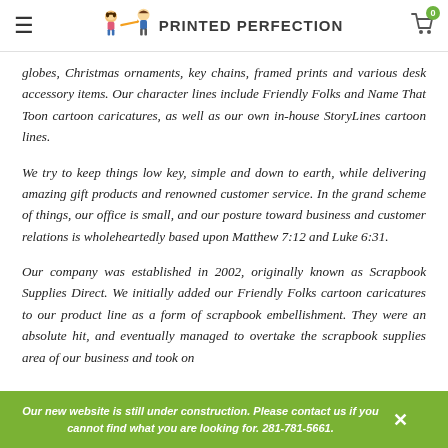Printed Perfection
globes, Christmas ornaments, key chains, framed prints and various desk accessory items. Our character lines include Friendly Folks and Name That Toon cartoon caricatures, as well as our own in-house StoryLines cartoon lines.
We try to keep things low key, simple and down to earth, while delivering amazing gift products and renowned customer service. In the grand scheme of things, our office is small, and our posture toward business and customer relations is wholeheartedly based upon Matthew 7:12 and Luke 6:31.
Our company was established in 2002, originally known as Scrapbook Supplies Direct. We initially added our Friendly Folks cartoon caricatures to our product line as a form of scrapbook embellishment. They were an absolute hit, and eventually managed to overtake the scrapbook supplies area of our business and took on
Our new website is still under construction. Please contact us if you cannot find what you are looking for. 281-781-5661.